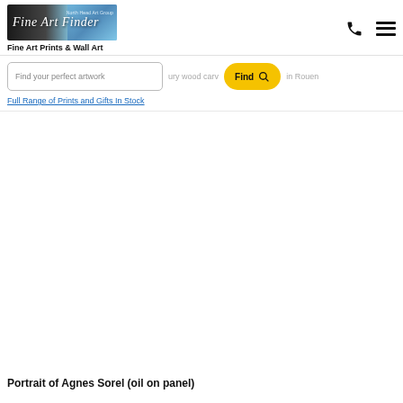[Figure (logo): Fine Art Finder logo with banner image showing art/paintings in background and 'North Head Art Group' subtitle text]
Fine Art Prints & Wall Art
Find your perfect artwork
ury wood carv... in Rouen
Full Range of Prints and Gifts In Stock
Portrait of Agnes Sorel (oil on panel)